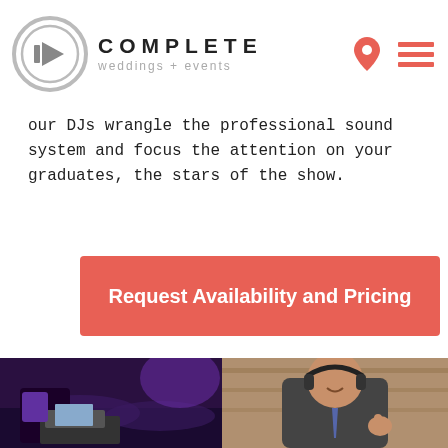COMPLETE weddings + events
our DJs wrangle the professional sound system and focus the attention on your graduates, the stars of the show.
Request Availability and Pricing
[Figure (photo): DJ working at equipment with crowd in background under purple lighting]
[Figure (photo): Man in suit with headphones giving thumbs up in bar/venue setting]